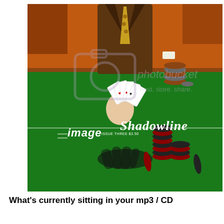[Figure (illustration): Comic book cover illustration showing a man in a suit holding playing cards (poker hand) over a green felt casino table. Poker chips are stacked on the table. The cover reads 'image ISSUE THREE $3.50 Shadowline'. A Photobucket watermark overlay is visible on the image.]
What's currently sitting in your mp3 / CD